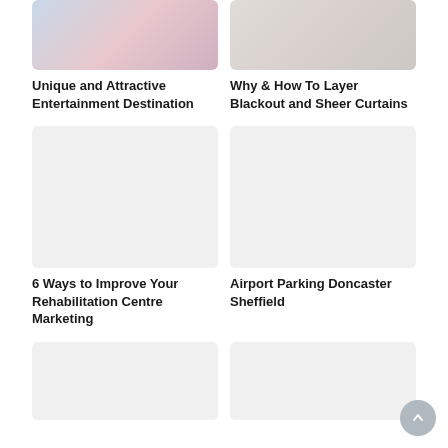[Figure (photo): Gaming or entertainment themed image with blue/pink tones]
Unique and Attractive Entertainment Destination
[Figure (photo): Curtains or fabric texture in grey/beige tones]
Why & How To Layer Blackout and Sheer Curtains
[Figure (photo): Light grey placeholder image]
6 Ways to Improve Your Rehabilitation Centre Marketing
[Figure (photo): Light grey placeholder image]
Airport Parking Doncaster Sheffield
[Figure (photo): Light grey placeholder image (bottom left)]
[Figure (photo): Light grey placeholder image (bottom right)]